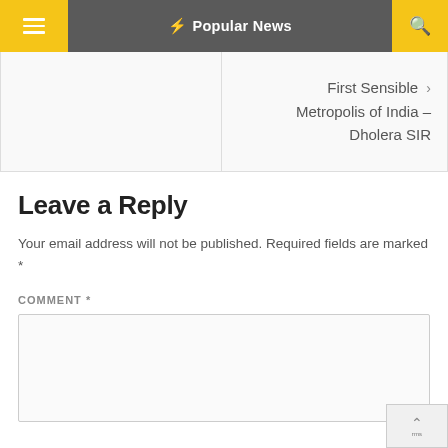Popular News
First Sensible > Metropolis of India – Dholera SIR
Leave a Reply
Your email address will not be published. Required fields are marked *
COMMENT *
[Figure (screenshot): Comment text area input field]